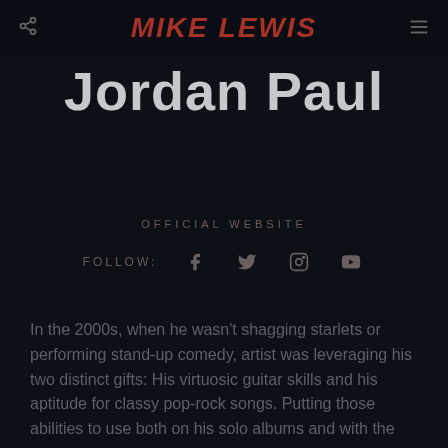MIKE LEWIS
Jordan Paul
OFFICIAL WEBSITE
FOLLOW:
In the 2000s, when he wasn't shagging starlets or performing stand-up comedy, artist was leveraging his two distinct gifts: His virtuosic guitar skills and his aptitude for classy pop-rock songs. Putting those abilities to use both on his solo albums and with the